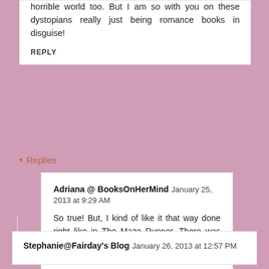horrible world too. But I am so with you on these dystopians really just being romance books in disguise!
REPLY
Replies
Adriana @ BooksOnHerMind  January 25, 2013 at 9:29 AM
So true! But, I kind of like it that way done right like in The Maze Runner. There was romance but it was way more action and over all terrifyingness.
Stephanie@Fairday's Blog  January 26, 2013 at 12:57 PM